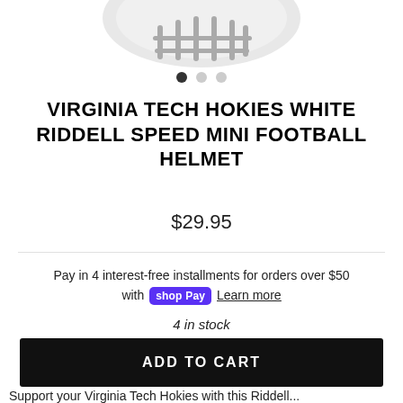[Figure (photo): White Riddell Speed Mini Football Helmet partially visible at top of page]
VIRGINIA TECH HOKIES WHITE RIDDELL SPEED MINI FOOTBALL HELMET
$29.95
Pay in 4 interest-free installments for orders over $50 with shop Pay Learn more
4 in stock
ADD TO CART
Support your Virginia Tech Hokies with this Riddell...